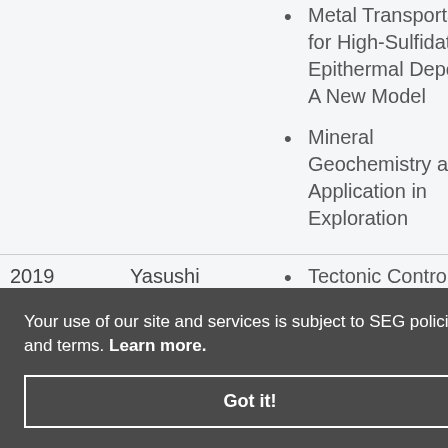Metal Transportation for High-Sulfidation Epithermal Deposits: A New Model
Mineral Geochemistry and Its Application in Exploration
| Year | Name | Topics |
| --- | --- | --- |
| 2019 | Yasushi Watanabe | Tectonic Control on Porphyry Cu and Epithermal Au ...; Role of Potassic Alteration for Porphyry Cu Mineralization.; Rare Earth Deposits and Mineralization... |
Your use of our site and services is subject to SEG policies and terms. Learn more.